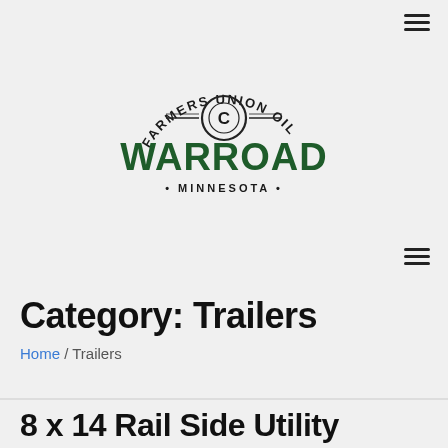[Figure (logo): Farmers Union Oil Co. Warroad Minnesota circular logo with arched text and compass-style emblem]
Category: Trailers
Home / Trailers
8 x 14 Rail Side Utility 2,990#